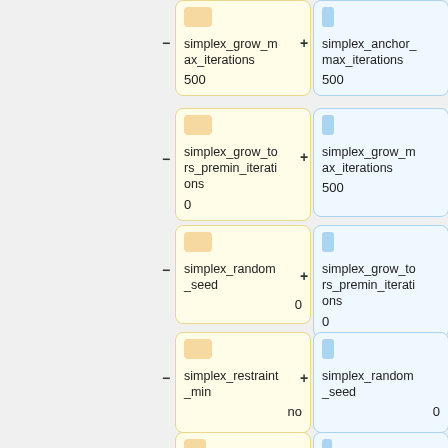[Figure (flowchart): Two-column comparison of configuration parameter cards. Left column (yellow) shows: simplex_grow_max_iterations (500), simplex_grow_tors_premin_iterations (0), simplex_random_seed (0), simplex_restraint_min (no), atom_model. Right column (blue) shows: simplex_anchor_max_iterations (500), simplex_grow_max_iterations (500), simplex_grow_tors_premin_iterations (0), simplex_random_seed (0), simplex_restraint. Each card has a colored icon, parameter name, and value. Minus/plus connectors between columns.]